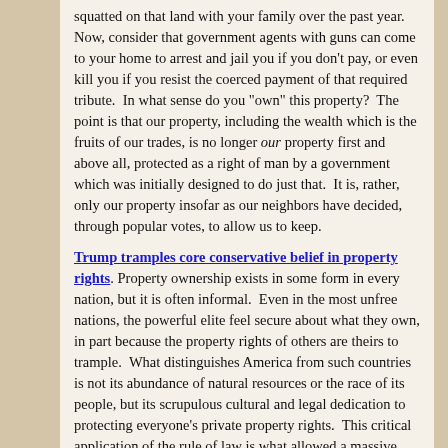squatted on that land with your family over the past year.  Now, consider that government agents with guns can come to your home to arrest and jail you if you don't pay, or even kill you if you resist the coerced payment of that required tribute.  In what sense do you "own" this property?  The point is that our property, including the wealth which is the fruits of our trades, is no longer our property first and above all, protected as a right of man by a government which was initially designed to do just that.  It is, rather, only our property insofar as our neighbors have decided, through popular votes, to allow us to keep.
Trump tramples core conservative belief in property rights. Property ownership exists in some form in every nation, but it is often informal.  Even in the most unfree nations, the powerful elite feel secure about what they own, in part because the property rights of others are theirs to trample.  What distinguishes America from such countries is not its abundance of natural resources or the race of its people, but its scrupulous cultural and legal dedication to protecting everyone's private property rights.  This critical application of the rule of law is what allowed a massive middle class to form and grow on a scale unprecedented in history.
Standoff in Oregon Centers on Land Ownership and Control.  Understanding the resistance to federal agencies currently shown in headlines and newscasts nationwide should begin with a reading of the U.S. Constitution.  A good look at the venerable document will lead to the conclusion that the federal government's numerous bureaus and agencies are illicitly controlling vast parcels of land, mostly in the 12 western states. They are doing so without constitutional authority. The current